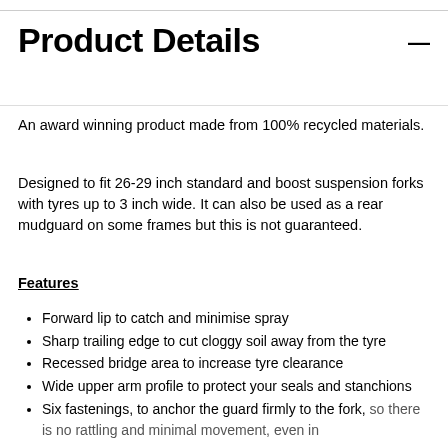Product Details
An award winning product made from 100% recycled materials.
Designed to fit 26-29 inch standard and boost suspension forks with tyres up to 3 inch wide. It can also be used as a rear mudguard on some frames but this is not guaranteed.
Features
Forward lip to catch and minimise spray
Sharp trailing edge to cut cloggy soil away from the tyre
Recessed bridge area to increase tyre clearance
Wide upper arm profile to protect your seals and stanchions
Six fastenings, to anchor the guard firmly to the fork, so there is no rattling and minimal movement, even in